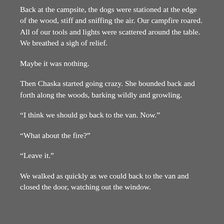Back at the campsite, the dogs were stationed at the edge of the wood, stiff and sniffing the air. Our campfire roared. All of our tools and lights were scattered around the table. We breathed a sigh of relief.
Maybe it was nothing.
Then Chaska started going crazy. She bounded back and forth along the woods, barking wildly and growling.
“I think we should go back to the van. Now.”
“What about the fire?”
“Leave it.”
We walked as quickly as we could back to the van and closed the door, watching out the window.